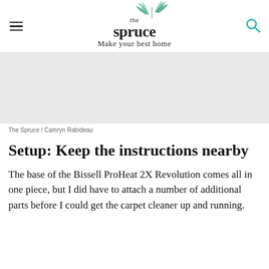the spruce / Make your best home
[Figure (photo): Gray placeholder image area representing a photograph of the Bissell ProHeat 2X Revolution carpet cleaner]
The Spruce / Camryn Rabideau
Setup: Keep the instructions nearby
The base of the Bissell ProHeat 2X Revolution comes all in one piece, but I did have to attach a number of additional parts before I could get the carpet cleaner up and running.